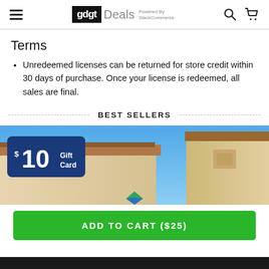gdgt Deals Powered By StackCommerce
Terms
Unredeemed licenses can be returned for store credit within 30 days of purchase. Once your license is redeemed, all sales are final.
BEST SELLERS
[Figure (photo): Sam's Club store building exterior with blue sky background and a $10 Gift Card badge overlay in the lower left]
ADD TO CART ($25)